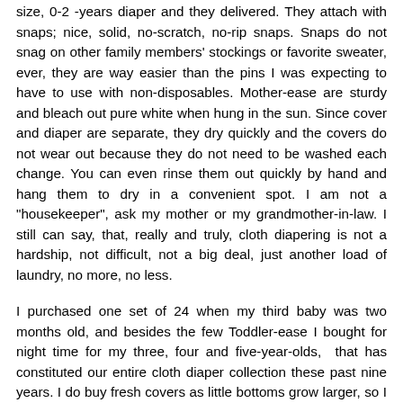size, 0-2 -years diaper and they delivered. They attach with snaps; nice, solid, no-scratch, no-rip snaps. Snaps do not snag on other family members' stockings or favorite sweater, ever, they are way easier than the pins I was expecting to have to use with non-disposables. Mother-ease are sturdy and bleach out pure white when hung in the sun. Since cover and diaper are separate, they dry quickly and the covers do not wear out because they do not need to be washed each change. You can even rinse them out quickly by hand and hang them to dry in a convenient spot. I am not a "housekeeper", ask my mother or my grandmother-in-law. I still can say, that, really and truly, cloth diapering is not a hardship, not difficult, not a big deal, just another load of laundry, no more, no less.
I purchased one set of 24 when my third baby was two months old, and besides the few Toddler-ease I bought for night time for my three, four and five-year-olds,  that has constituted our entire cloth diaper collection these past nine years. I do buy fresh covers as little bottoms grow larger, so I know that this is a givaway that will benefit just about anyone who uses cloth, or is thinking of using cloth, because